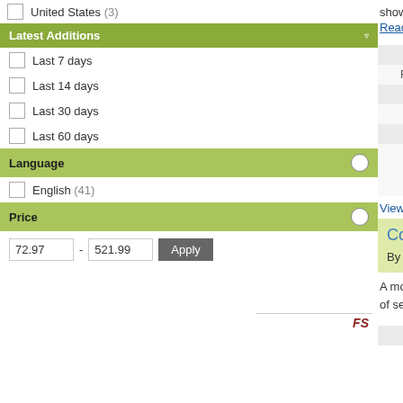United States (3)
Latest Additions
Last 7 days
Last 14 days
Last 30 days
Last 60 days
Language
English (41)
Price
72.97 - 521.99 Apply
shows how this may be a
Read more
| Field | Value |
| --- | --- |
| ISBN | 97801 9... |
| Released NZ | 6 Feb ... |
| Publisher | Oxford... |
| Interest Age | 19+ ye... |
| Series | Oxford... |
| Availability | Back O... interna... due to... |
View details for this t
Computability and...
By Nies, Andre
A monograph on the inte of sets of natural number
| Field | Value |
| --- | --- |
| ISBN | 97801 9... |